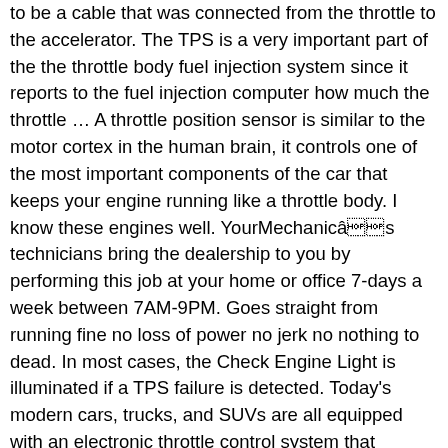to be a cable that was connected from the throttle to the accelerator. The TPS is a very important part of the the throttle body fuel injection system since it reports to the fuel injection computer how much the throttle … A throttle position sensor is similar to the motor cortex in the human brain, it controls one of the most important components of the car that keeps your engine running like a throttle body. I know these engines well. YourMechanicâs technicians bring the dealership to you by performing this job at your home or office 7-days a week between 7AM-9PM. Goes straight from running fine no loss of power no jerk no nothing to dead. In most cases, the Check Engine Light is illuminated if a TPS failure is detected. Today's modern cars, trucks, and SUVs are all equipped with an electronic throttle control system that contains an accelerator pedal position (APP) sensor.This sensor's primary job is to monitor the position of the throttle pedal and send an electronic signal to open the throttle … P2135: Throttle Position Sensor (TPS) Sensor 1 And 2 Correlation. Now you may be wondering when you'll need to have your throttle position replaced. The